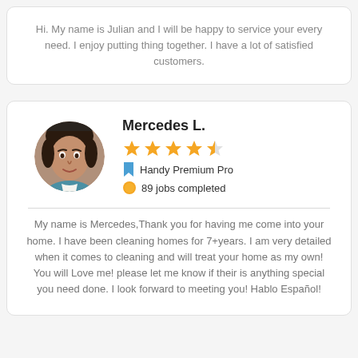Hi. My name is Julian and I will be happy to service your every need. I enjoy putting thing together. I have a lot of satisfied customers.
Mercedes L.
4.5 stars
Handy Premium Pro
89 jobs completed
My name is Mercedes,Thank you for having me come into your home. I have been cleaning homes for 7+years. I am very detailed when it comes to cleaning and will treat your home as my own! You will Love me! please let me know if their is anything special you need done. I look forward to meeting you! Hablo Español!